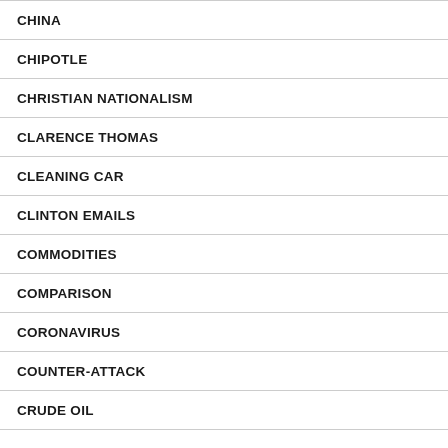CHINA
CHIPOTLE
CHRISTIAN NATIONALISM
CLARENCE THOMAS
CLEANING CAR
CLINTON EMAILS
COMMODITIES
COMPARISON
CORONAVIRUS
COUNTER-ATTACK
CRUDE OIL